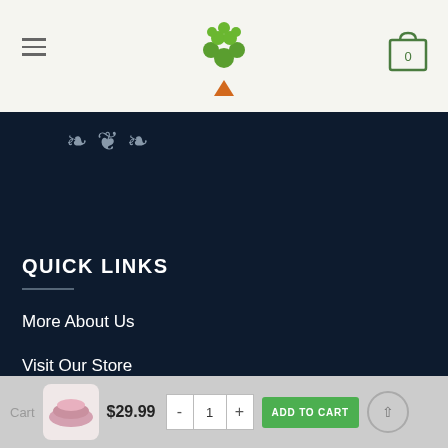Navigation header with hamburger menu, tree logo, and cart icon (0 items)
[Figure (logo): Green tree logo with orange trunk and green circular dot foliage]
QUICK LINKS
More About Us
Visit Our Store
Let's Connect
My account
Cart  $29.99  - 1 +  ADD TO CART